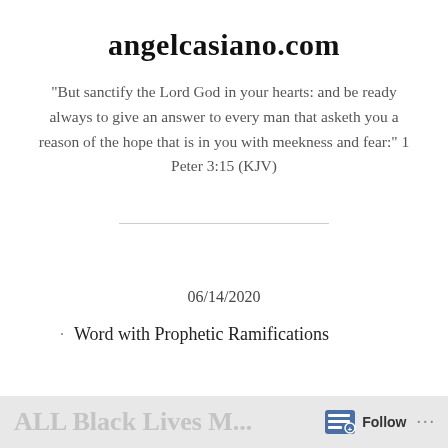angelcasiano.com
"But sanctify the Lord God in your hearts: and be ready always to give an answer to every man that asketh you a reason of the hope that is in you with meekness and fear:" 1 Peter 3:15 (KJV)
06/14/2020
Word with Prophetic Ramifications
ALL Black Lives M... Follow ...